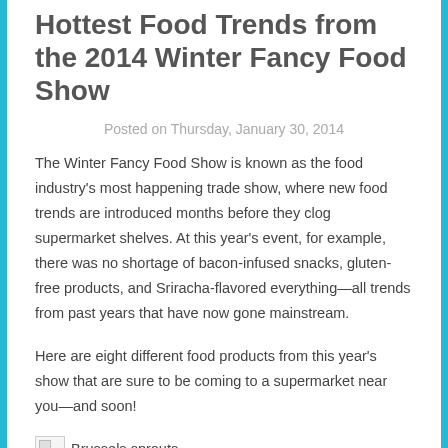Hottest Food Trends from the 2014 Winter Fancy Food Show
Posted on Thursday, January 30, 2014
The Winter Fancy Food Show is known as the food industry's most happening trade show, where new food trends are introduced months before they clog supermarket shelves. At this year's event, for example, there was no shortage of bacon-infused snacks, gluten-free products, and Sriracha-flavored everything—all trends from past years that have now gone mainstream.
Here are eight different food products from this year's show that are sure to be coming to a supermarket near you—and soon!
Brussels sprouts